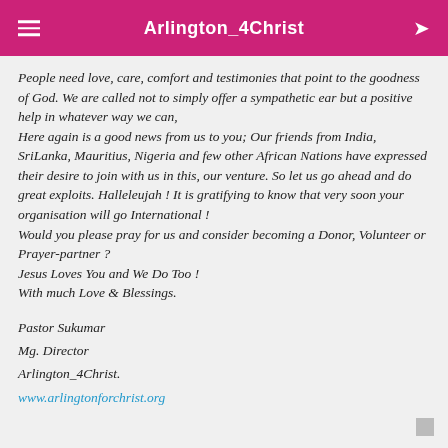Arlington_4Christ
People need love, care, comfort and testimonies that point to the goodness of God. We are called not to simply offer a sympathetic ear but a positive help in whatever way we can,
Here again is a good news from us to you; Our friends from India, SriLanka, Mauritius, Nigeria and few other African Nations have expressed their desire to join with us in this, our venture. So let us go ahead and do great exploits. Halleleujah ! It is gratifying to know that very soon your organisation will go International !
Would you please pray for us and consider becoming a Donor, Volunteer or Prayer-partner ?
Jesus Loves You and We Do Too !
With much Love & Blessings.
Pastor Sukumar
Mg. Director
Arlington_4Christ.
www.arlingtonforchrist.org